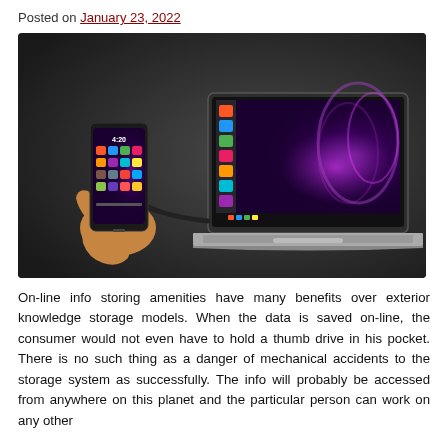Posted on January 23, 2022
[Figure (photo): A hand holding a smartphone connected via USB-C cable to a laptop. The laptop screen shows a Linux (Ubuntu) desktop with a purple/magenta wallpaper and an app dock on the left side. The smartphone also shows a home screen with app icons.]
On-line info storing amenities have many benefits over exterior knowledge storage models. When the data is saved on-line, the consumer would not even have to hold a thumb drive in his pocket. There is no such thing as a danger of mechanical accidents to the storage system as successfully. The info will probably be accessed from anywhere on this planet and the particular person can work on any other